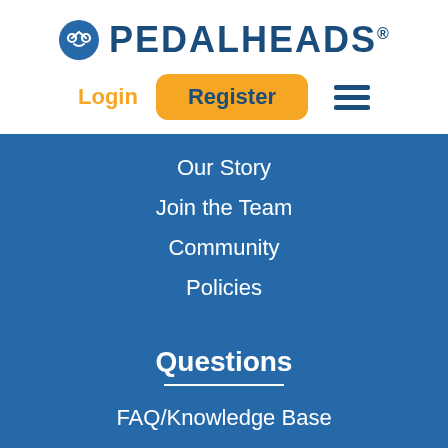[Figure (logo): Pedalheads logo with smiley face bicycle icon and bold dark blue text reading PEDALHEADS with registered trademark symbol]
Login
Register
Our Story
Join the Team
Community
Policies
Questions
FAQ/Knowledge Base
COVID
Weather Alerts